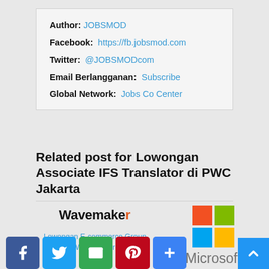Author: JOBSMOD
Facebook: https://fb.jobsmod.com
Twitter: @JOBSMODcom
Email Berlangganan: Subscribe
Global Network: Jobs Co Center
Related post for Lowongan Associate IFS Translator di PWC Jakarta
[Figure (logo): Wavemaker logo with link: Lowongan E-commerce Group Head di Wavemaker Jakarta]
[Figure (logo): Microsoft logo with link: Lowongan Partner Sales Executive di Microsoft Jakarta]
[Figure (infographic): Social media share icons: Facebook, Twitter, Email, Pinterest, Share; and scroll-to-top button]